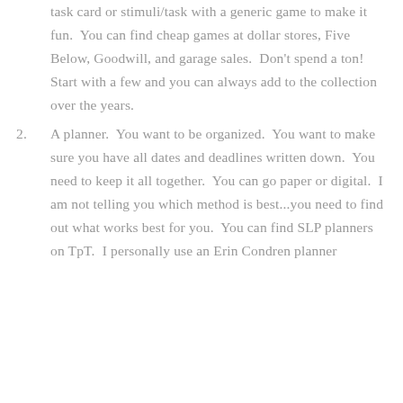task card or stimuli/task with a generic game to make it fun.  You can find cheap games at dollar stores, Five Below, Goodwill, and garage sales.  Don't spend a ton!  Start with a few and you can always add to the collection over the years.
2. A planner.  You want to be organized.  You want to make sure you have all dates and deadlines written down.  You need to keep it all together.  You can go paper or digital.  I am not telling you which method is best...you need to find out what works best for you.  You can find SLP planners on TpT.  I personally use an Erin Condren planner